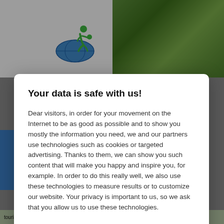[Figure (screenshot): Website background with logo (green globe with figure) on white on left, green tree canopy on right, blue bar on left side, partial text on right edge, and green landscape at bottom.]
Your data is safe with us!
Dear visitors, in order for your movement on the Internet to be as good as possible and to show you mostly the information you need, we and our partners use technologies such as cookies or targeted advertising. Thanks to them, we can show you such content that will make you happy and inspire you, for example. In order to do this really well, we also use these technologies to measure results or to customize our website. Your privacy is important to us, so we ask that you allow us to use these technologies.
Accept
Deny
Set